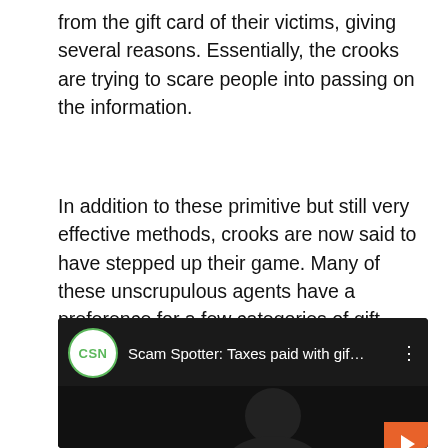from the gift card of their victims, giving several reasons. Essentially, the crooks are trying to scare people into passing on the information.
In addition to these primitive but still very effective methods, crooks are now said to have stepped up their game. Many of these unscrupulous agents have a preference for a few categories of gift cards. One of the most favorite gift cards is from Target, followed by Google Play, Apple Inc., eBay and finally, Walmart.
[Figure (screenshot): Video thumbnail showing CSN logo (green circle) with text 'Scam Spotter: Taxes paid with gif...' on dark background, with a silhouette and an orange play button.]